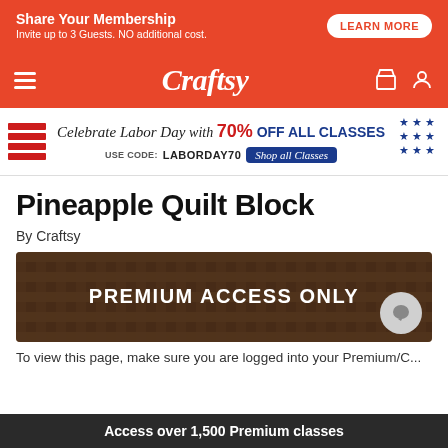[Figure (screenshot): Orange ad banner: Share Your Membership - Invite up to 3 Guests. NO additional cost. LEARN MORE button]
Craftsy
[Figure (infographic): Labor Day sale banner: Celebrate Labor Day with 70% OFF ALL CLASSES. USE CODE: LABORDAY70. Shop all Classes button. American flag stripes and stars decorations.]
Pineapple Quilt Block
By Craftsy
[Figure (screenshot): Premium access only overlay image showing quilting background with PREMIUM ACCESS ONLY text]
To view this page, make sure you are logged into your Premium/C...
Access over 1,500 Premium classes